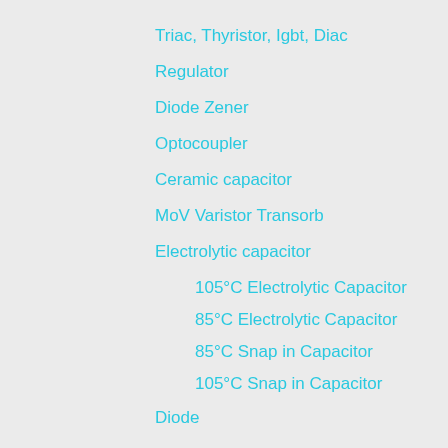Triac, Thyristor, Igbt, Diac
Regulator
Diode Zener
Optocoupler
Ceramic capacitor
MoV Varistor Transorb
Electrolytic capacitor
105°C Electrolytic Capacitor
85°C Electrolytic Capacitor
85°C Snap in Capacitor
105°C Snap in Capacitor
Diode